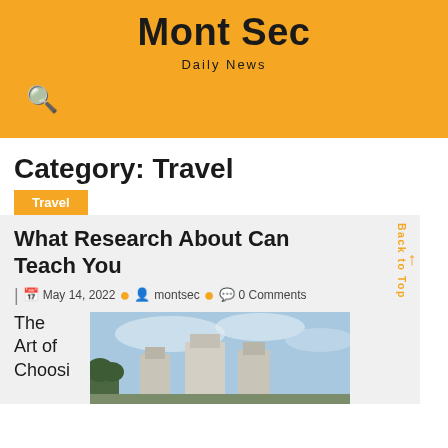Mont Sec
Daily News
Category: Travel
Travel
What Research About Can Teach You
May 14, 2022 • montsec • 0 Comments
The Art of Choosi
[Figure (photo): Exterior view of a building with white/grey geometric shapes against a blue sky with clouds and trees in the foreground]
Back to Top ↑